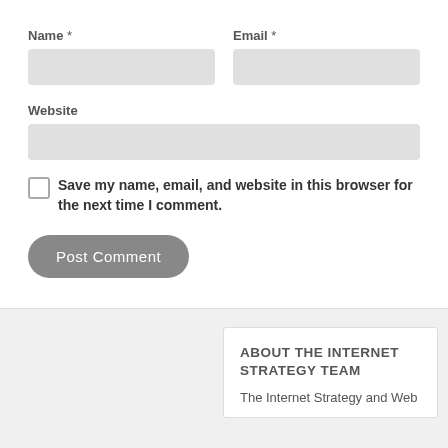Name *
Email *
Website
Save my name, email, and website in this browser for the next time I comment.
Post Comment
ABOUT THE INTERNET STRATEGY TEAM
The Internet Strategy and Web